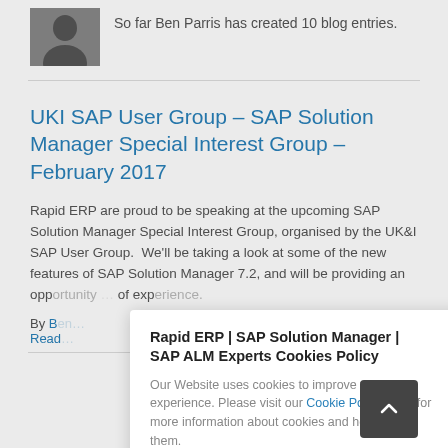[Figure (photo): Black and white headshot photo of Ben Parris]
So far Ben Parris has created 10 blog entries.
UKI SAP User Group – SAP Solution Manager Special Interest Group – February 2017
Rapid ERP are proud to be speaking at the upcoming SAP Solution Manager Special Interest Group, organised by the UK&I SAP User Group.  We'll be taking a look at some of the new features of SAP Solution Manager 7.2, and will be providing an opportunity … of experience.
By B… | … ents Read…
Rapid ERP | SAP Solution Manager | SAP ALM Experts Cookies Policy
Our Website uses cookies to improve your experience. Please visit our Cookie Policy page for more information about cookies and how we use them.